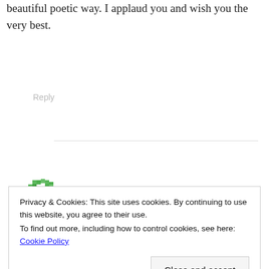This was amazing, honestly writing in a beautiful poetic way. I applaud you and wish you the very best.
Reply
[Figure (illustration): Green pixelated avatar/icon in the lower portion of the page]
Privacy & Cookies: This site uses cookies. By continuing to use this website, you agree to their use.
To find out more, including how to control cookies, see here: Cookie Policy
Close and accept